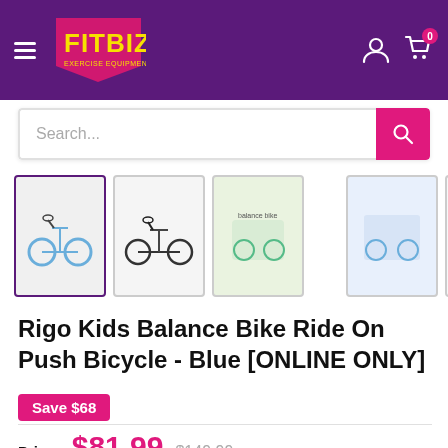FITBIZ - Exercise Equipment
[Figure (screenshot): Product thumbnail gallery showing 6 images of a blue kids balance bike]
Rigo Kids Balance Bike Ride On Push Bicycle - Blue [ONLINE ONLY]
Save $68
SKU: KBB-STL12-BL
Price: $81.99  $149.99